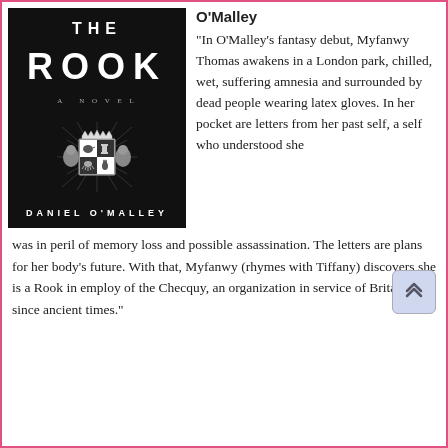[Figure (photo): Book cover of 'The Rook' by Daniel O'Malley. Black background with white text. Title 'THE ROOK' in large bold letters, subtitle 'A NOVEL', heraldic emblem with lions and shield in center, author name 'DANIEL O'MALLEY' at bottom.]
O'Malley
"In O'Malley's fantasy debut, Myfanwy Thomas awakens in a London park, chilled, wet, suffering amnesia and surrounded by dead people wearing latex gloves. In her pocket are letters from her past self, a self who understood she was in peril of memory loss and possible assassination. The letters are plans for her body's future. With that, Myfanwy (rhymes with Tiffany) discovers she is a Rook in employ of the Checquy, an organization in service of Britain since ancient times."